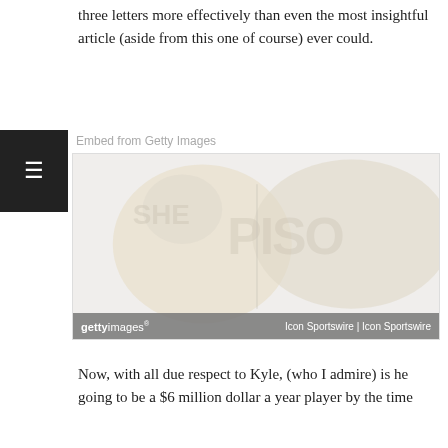three letters more effectively than even the most insightful article (aside from this one of course) ever could.
Embed from Getty Images
[Figure (photo): A faded/watermarked Getty Images sports photo with gray bar at bottom showing 'gettyimages' logo and 'Icon Sportswire | Icon Sportswire' credit.]
Now, with all due respect to Kyle, (who I admire) is he going to be a $6 million dollar a year player by the time